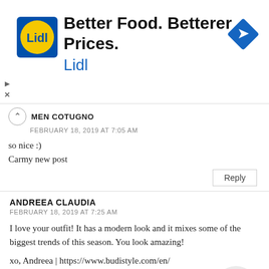[Figure (advertisement): Lidl advertisement banner with logo, text 'Better Food. Betterer Prices. Lidl' and a navigation arrow icon]
MEN COTUGNO
FEBRUARY 18, 2019 AT 7:05 AM
so nice :)
Carmy new post
Reply
ANDREEA CLAUDIA
FEBRUARY 18, 2019 AT 7:25 AM
I love your outfit! It has a modern look and it mixes some of the biggest trends of this season. You look amazing!
xo, Andreea | https://www.budistyle.com/en/
Reply
SOPH HEARTS